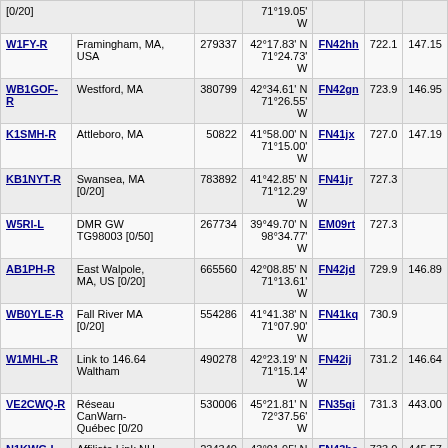| Callsign | Location | Node | Coordinates | Grid | Dist | Freq |
| --- | --- | --- | --- | --- | --- | --- |
| [0/20] |  |  | 71°19.05' W |  |  |  |
| W1FY-R | Framingham, MA, USA | 279337 | 42°17.83' N 71°24.73' W | FN42hh | 722.1 | 147.15 |
| WB1GOF-R | Westford, MA | 380799 | 42°34.61' N 71°26.55' W | FN42gn | 723.9 | 146.95 |
| K1SMH-R | Attleboro, MA | 50822 | 41°58.00' N 71°15.00' W | FN41jx | 727.0 | 147.19 |
| KB1NYT-R | Swansea, MA [0/20] | 783892 | 41°42.85' N 71°12.29' W | FN41jr | 727.3 |  |
| W5RI-L | DMR GW TG98003 [0/50] | 267734 | 39°49.70' N 98°34.77' W | EM09rt | 727.3 |  |
| AB1PH-R | East Walpole, MA, US [0/20] | 665560 | 42°08.85' N 71°13.61' W | FN42jd | 729.9 | 146.89 |
| WB0YLE-R | Fall River MA [0/20] | 554286 | 41°41.38' N 71°07.90' W | FN41kq | 730.9 |  |
| W1MHL-R | Link to 146.64 Waltham | 490278 | 42°23.19' N 71°15.14' W | FN42ij | 731.2 | 146.64 |
| VE2CWQ-R | Réseau CanWarn-Québec [0/20 | 530006 | 45°21.81' N 72°37.56' W | FN35qi | 731.3 | 443.00 |
| N1KWG-L | Affiliate Link NH (1) | 234340 | 43°01.95' N 71°23.41' W | FN43ha | 733.0 | 445.57 |